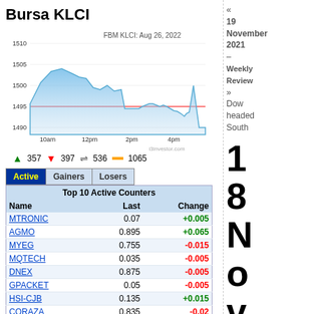Bursa KLCI
[Figure (area-chart): Area chart showing FBM KLCI intraday movement on Aug 26, 2022, ranging approximately 1490-1510]
▲ 357  ▼ 397  ⇌ 536  — 1065
| Name | Last | Change |
| --- | --- | --- |
| MTRONIC | 0.07 | +0.005 |
| AGMO | 0.895 | +0.065 |
| MYEG | 0.755 | -0.015 |
| MQTECH | 0.035 | -0.005 |
| DNEX | 0.875 | -0.005 |
| GPACKET | 0.05 | -0.005 |
| HSI-CJB | 0.135 | +0.015 |
| CORAZA | 0.835 | -0.02 |
| SERBADK | 0.04 | +0.005 |
| TOPGLOV | 0.83 | -0.01 |
« 19 November 2021 – Weekly Review »
Dow headed South
18 No v e